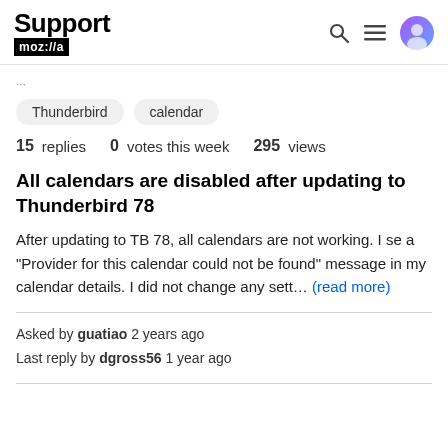Support mozilla//a
Thunderbird  calendar
15 replies  0 votes this week  295 views
All calendars are disabled after updating to Thunderbird 78
After updating to TB 78, all calendars are not working. I se a "Provider for this calendar could not be found" message in my calendar details. I did not change any sett... (read more)
Asked by guatiao 2 years ago
Last reply by dgross56 1 year ago